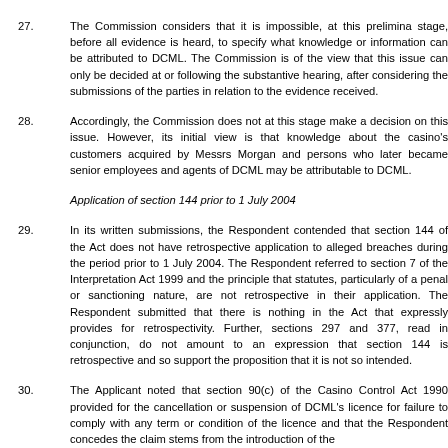27. The Commission considers that it is impossible, at this preliminary stage, before all evidence is heard, to specify what knowledge or information can be attributed to DCML. The Commission is of the view that this issue can only be decided at or following the substantive hearing, after considering the submissions of the parties in relation to the evidence received.
28. Accordingly, the Commission does not at this stage make a decision on this issue. However, its initial view is that knowledge about the casino's customers acquired by Messrs Morgan and persons who later became senior employees and agents of DCML may be attributable to DCML.
Application of section 144 prior to 1 July 2004
29. In its written submissions, the Respondent contended that section 144 of the Act does not have retrospective application to alleged breaches during the period prior to 1 July 2004. The Respondent referred to section 7 of the Interpretation Act 1999 and the principle that statutes, particularly of a penal or sanctioning nature, are not retrospective in their application. The Respondent submitted that there is nothing in the Act that expressly provides for retrospectivity. Further, sections 297 and 377, read in conjunction, do not amount to an expression that section 144 is retrospective and so support the proposition that it is not so intended.
30. The Applicant noted that section 90(c) of the Casino Control Act 1990 provided for the cancellation or suspension of DCML's licence for failure to comply with any term or condition of the licence and that the Respondent concedes the claim stems from the introduction of the obligation to have a